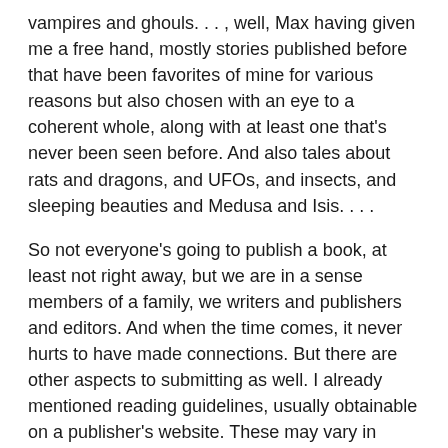vampires and ghouls. . . , well, Max having given me a free hand, mostly stories published before that have been favorites of mine for various reasons but also chosen with an eye to a coherent whole, along with at least one that's never been seen before.  And also tales about rats and dragons, and UFOs, and insects, and sleeping beauties and Medusa and Isis. . . .
So not everyone's going to publish a book, at least not right away, but we are in a sense members of a family, we writers and publishers and editors.  And when the time comes, it never hurts to have made connections.  But there are other aspects to submitting as well.  I already mentioned reading guidelines, usually obtainable on a publisher's website.  These may vary in information quality, but if an editor states a preference -- or lists taboos -- adhering to the editor's wants as closely as possible, or at least explaining in a cover letter why you might be bending a rule if you have a good reason to, will leave a good impression for future submissions even if this particular one fails.  And if an editor says, even though rejecting this story, to please send another, take him or her up on it if you can.